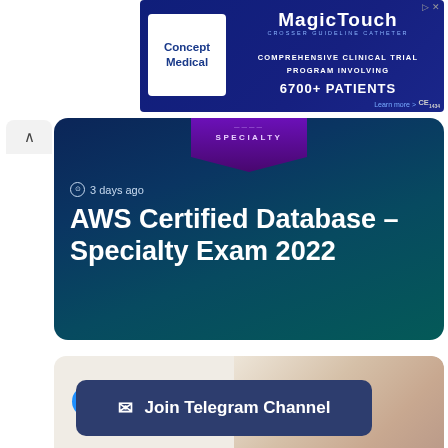[Figure (illustration): MagicTouch Concept Medical advertisement banner with dark blue background showing comprehensive clinical trial program involving 6700+ patients, CE1434 mark]
[Figure (illustration): AWS Certified Database Specialty Exam 2022 course card with dark blue/teal gradient background, specialty badge at top, and timestamp '3 days ago']
3 days ago
AWS Certified Database – Specialty Exam 2022
[Figure (photo): Trending Courses card with light beige background and blurred image of hands on keyboard on the right side]
Trending Courses
Join Telegram Channel